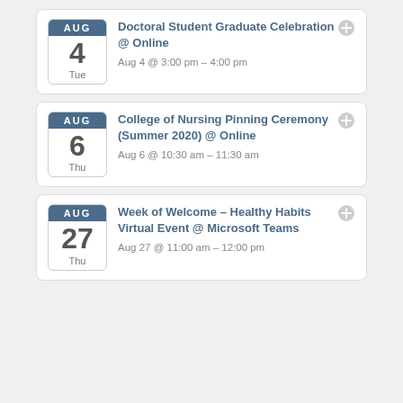Doctoral Student Graduate Celebration @ Online — Aug 4 @ 3:00 pm – 4:00 pm
College of Nursing Pinning Ceremony (Summer 2020) @ Online — Aug 6 @ 10:30 am – 11:30 am
Week of Welcome – Healthy Habits Virtual Event @ Microsoft Teams — Aug 27 @ 11:00 am – 12:00 pm